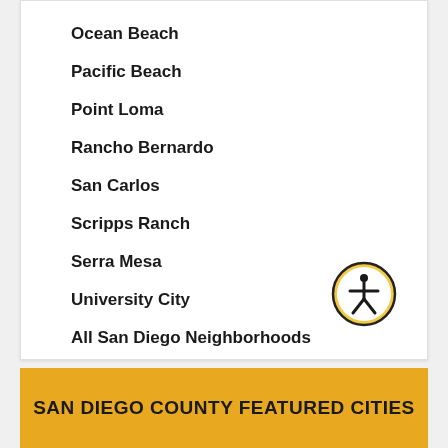Ocean Beach
Pacific Beach
Point Loma
Rancho Bernardo
San Carlos
Scripps Ranch
Serra Mesa
University City
All San Diego Neighborhoods
[Figure (illustration): Accessibility icon: a person figure in a circle with gold/yellow border on white background]
SAN DIEGO COUNTY FEATURED CITIES